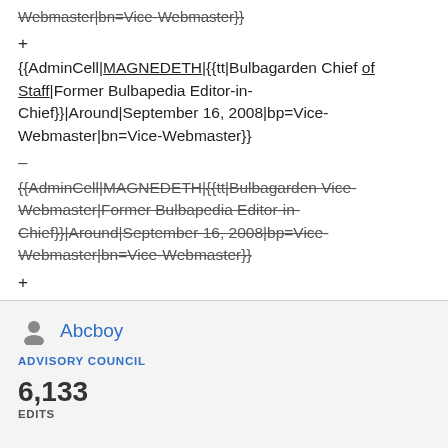Webmaster|bn=Vice-Webmaster}}
+ {{AdminCell|MAGNEDETH|{{tt|Bulbagarden Chief of Staff|Former Bulbapedia Editor-in-Chief}}|Around|September 16, 2008|bp=Vice-Webmaster|bn=Vice-Webmaster}}
– {{AdminCell|MAGNEDETH|{{tt|Bulbagarden Vice-Webmaster|Former Bulbapedia Editor-in-Chief}}|Around|September 16, 2008|bp=Vice-Webmaster|bn=Vice-Webmaster}}
+ {{AdminCell|digBMGF|{{tt|Bulbagarden Chief of Staff|Former Bulbapedia Administrator}}|Around|...
Abcboy
ADVISORY COUNCIL
6,133
EDITS